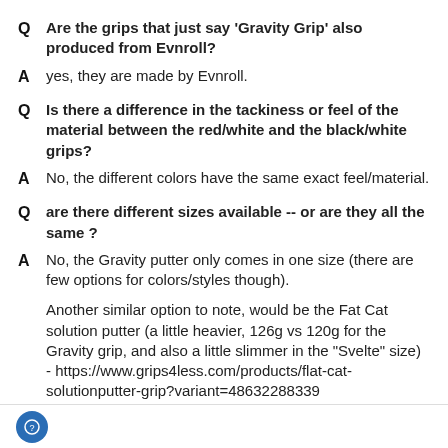Q  Are the grips that just say 'Gravity Grip' also produced from Evnroll?
A  yes, they are made by Evnroll.
Q  Is there a difference in the tackiness or feel of the material between the red/white and the black/white grips?
A  No, the different colors have the same exact feel/material.
Q  are there different sizes available -- or are they all the same ?
A  No, the Gravity putter only comes in one size (there are few options for colors/styles though).
Another similar option to note, would be the Fat Cat solution putter (a little heavier, 126g vs 120g for the Gravity grip, and also a little slimmer in the "Svelte" size) - https://www.grips4less.com/products/flat-cat-solutionputter-grip?variant=48632288339